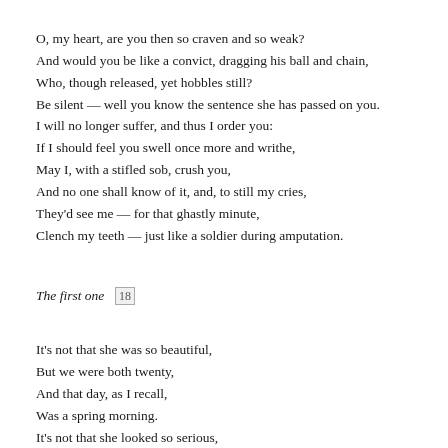O, my heart, are you then so craven and so weak?
And would you be like a convict, dragging his ball and chain,
Who, though released, yet hobbles still?
Be silent — well you know the sentence she has passed on you.
I will no longer suffer, and thus I order you:
If I should feel you swell once more and writhe,
May I, with a stifled sob, crush you,
And no one shall know of it, and, to still my cries,
They'd see me — for that ghastly minute,
Clench my teeth — just like a soldier during amputation.
The first one  18
It's not that she was so beautiful,
But we were both twenty,
And that day, as I recall,
Was a spring morning.
It's not that she looked so serious,
But here and now I swear
That never have I dared do a more courageous thing
Than when I told her that I loved her.
It's not that she had a tender heart,
But it was so delightful